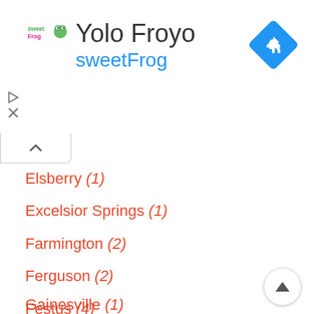Yolo Froyo - sweetFrog
Elsberry (1)
Excelsior Springs (1)
Farmington (2)
Ferguson (2)
Festus (4)
Florissant (3)
Forsyth (1)
Fredericktown (2)
Gainesville (1)